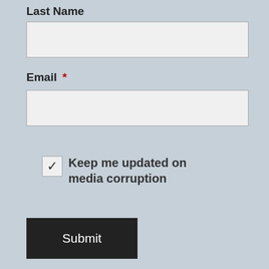Last Name
[Figure (screenshot): Empty text input field for Last Name]
Email *
[Figure (screenshot): Empty text input field for Email]
Keep me updated on media corruption (checked checkbox)
[Figure (screenshot): Submit button (dark background, white text)]